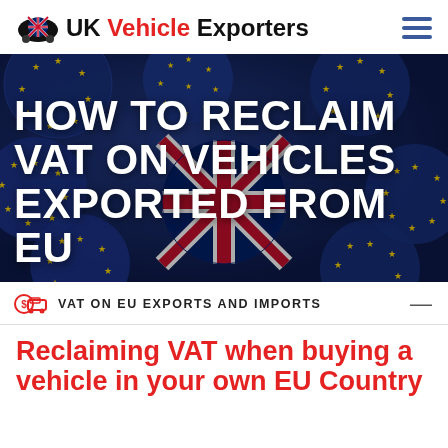UK Vehicle Exporters
[Figure (photo): Hero image of EU flag balls (blue with yellow stars) and one UK flag ball, with bold white text overlay reading: HOW TO RECLAIM VAT ON VEHICLES EXPORTED FROM EU]
HOW TO RECLAIM VAT ON VEHICLES EXPORTED FROM EU
VAT ON EU EXPORTS AND IMPORTS
Reclaiming VAT when buying a vehicle in your own EU Country